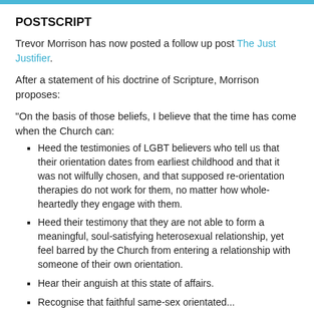POSTSCRIPT
Trevor Morrison has now posted a follow up post The Just Justifier.
After a statement of his doctrine of Scripture, Morrison proposes:
"On the basis of those beliefs, I believe that the time has come when the Church can:
Heed the testimonies of LGBT believers who tell us that their orientation dates from earliest childhood and that it was not wilfully chosen, and that supposed re-orientation therapies do not work for them, no matter how whole-heartedly they engage with them.
Heed their testimony that they are not able to form a meaningful, soul-satisfying heterosexual relationship, yet feel barred by the Church from entering a relationship with someone of their own orientation.
Hear their anguish at this state of affairs.
Recognise that faithful same-sex orientated...